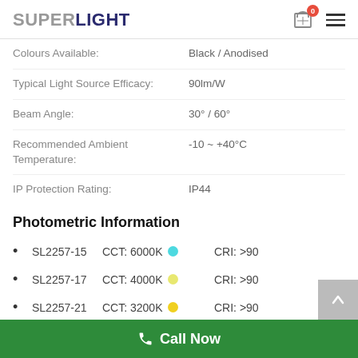SUPERLIGHT
| Property | Value |
| --- | --- |
| Colours Available: | Black / Anodised |
| Typical Light Source Efficacy: | 90lm/W |
| Beam Angle: | 30° / 60° |
| Recommended Ambient Temperature: | -10 ~ +40°C |
| IP Protection Rating: | IP44 |
Photometric Information
SL2257-15    CCT: 6000K  CRI:  >90
SL2257-17    CCT: 4000K  CRI:  >90
SL2257-21    CCT: 3200K  CRI:  >90
Call Now